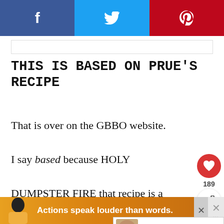f  t  p (social share bar: Facebook, Twitter, Pinterest)
THIS IS BASED ON PRUE'S RECIPE
That is over on the GBBO website. I say based because HOLY DUMPSTER FIRE that recipe is a mess. I'm not sure ANY of the elements are actually correct. I
[Figure (other): Advertisement banner with person silhouette and text 'Actions speak louder than words.']